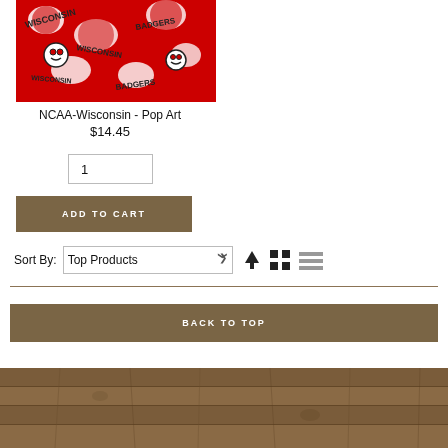[Figure (photo): Wisconsin Badgers NCAA pop art collage image with red, white and black colors showing Bucky Badger mascot repeated in pop art style]
NCAA-Wisconsin - Pop Art
$14.45
1
ADD TO CART
Sort By:  Top Products
BACK TO TOP
[Figure (photo): Wood plank texture background in brown/tan tones forming the page footer]